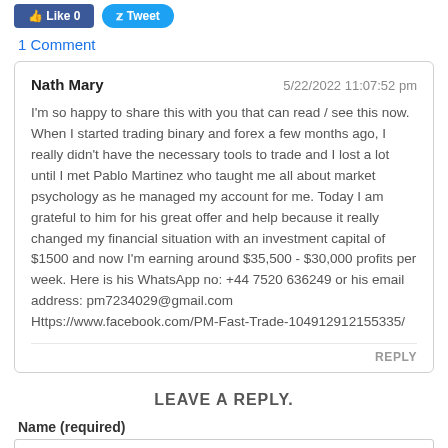1 Comment
Nath Mary   5/22/2022 11:07:52 pm
I'm so happy to share this with you that can read / see this now. When I started trading binary and forex a few months ago, I really didn't have the necessary tools to trade and I lost a lot until I met Pablo Martinez who taught me all about market psychology as he managed my account for me. Today I am grateful to him for his great offer and help because it really changed my financial situation with an investment capital of $1500 and now I'm earning around $35,500 - $30,000 profits per week. Here is his WhatsApp no: +44 7520 636249 or his email address: pm7234029@gmail.com Https://www.facebook.com/PM-Fast-Trade-104912912155335/
REPLY
LEAVE A REPLY.
Name (required)